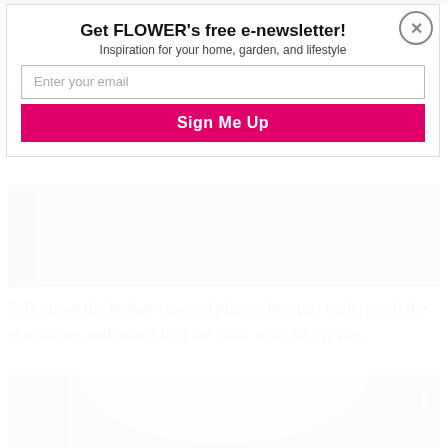Get FLOWER's free e-newsletter!
Inspiration for your home, garden, and lifestyle
Enter your email
Sign Me Up
[Figure (photo): Weathered wooden planks with a dark woody vine or branch on the left side]
5| Position the burlap-covered planter box just underneath the seat frame, and attach it to the chair with the zip ties.
[Figure (photo): Close-up photo of a person's face (man with gray hair) against a red brick wall background, with a scroll-to-top button in the bottom right corner]